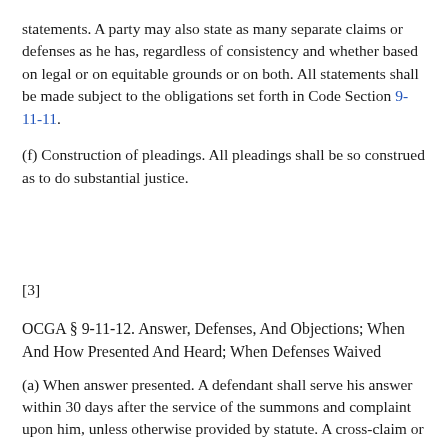statements. A party may also state as many separate claims or defenses as he has, regardless of consistency and whether based on legal or on equitable grounds or on both. All statements shall be made subject to the obligations set forth in Code Section 9-11-11.
(f) Construction of pleadings. All pleadings shall be so construed as to do substantial justice.
[3]
OCGA § 9-11-12. Answer, Defenses, And Objections; When And How Presented And Heard; When Defenses Waived
(a) When answer presented. A defendant shall serve his answer within 30 days after the service of the summons and complaint upon him, unless otherwise provided by statute. A cross-claim or